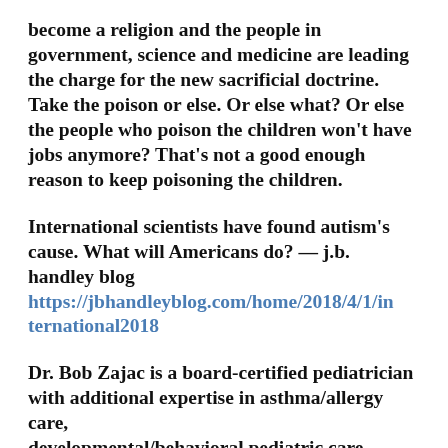become a religion and the people in government, science and medicine are leading the charge for the new sacrificial doctrine. Take the poison or else. Or else what? Or else the people who poison the children won't have jobs anymore? That's not a good enough reason to keep poisoning the children.
International scientists have found autism&apos;s cause. What will Americans do? — j.b. handley blog https://jbhandleyblog.com/home/2018/4/1/international2018
Dr. Bob Zajac is a board-certified pediatrician with additional expertise in asthma/allergy care, developmental/behavioral pediatric care